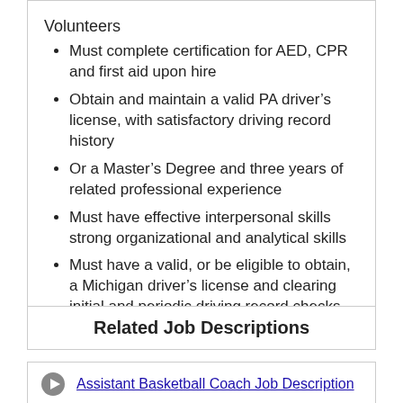Must complete certification for AED, CPR and first aid upon hire
Obtain and maintain a valid PA driver's license, with satisfactory driving record history
Or a Master's Degree and three years of related professional experience
Must have effective interpersonal skills strong organizational and analytical skills
Must have a valid, or be eligible to obtain, a Michigan driver's license and clearing initial and periodic driving record checks
Related Job Descriptions
Assistant Basketball Coach Job Description